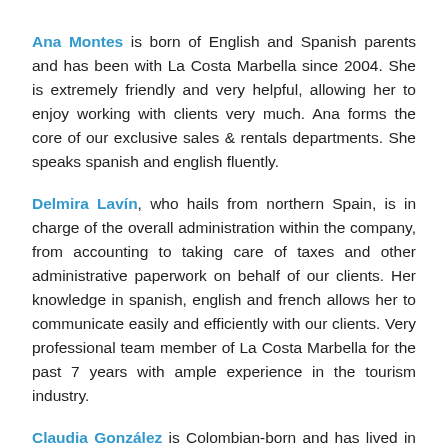Ana Montes is born of English and Spanish parents and has been with La Costa Marbella since 2004. She is extremely friendly and very helpful, allowing her to enjoy working with clients very much. Ana forms the core of our exclusive sales & rentals departments. She speaks spanish and english fluently.
Delmira Lavín, who hails from northern Spain, is in charge of the overall administration within the company, from accounting to taking care of taxes and other administrative paperwork on behalf of our clients. Her knowledge in spanish, english and french allows her to communicate easily and efficiently with our clients. Very professional team member of La Costa Marbella for the past 7 years with ample experience in the tourism industry.
Claudia González is Colombian-born and has lived in Spain for many years now. Very friendly and always willing to assist our clients. She speaks virtually the entire...